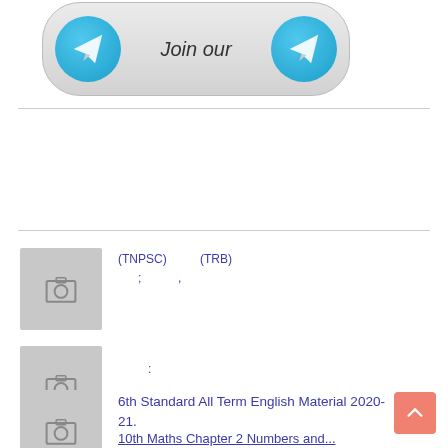[Figure (illustration): Telegram join banner with two Telegram icons and 'Join our' text]
[Figure (illustration): Article thumbnail placeholder with camera icon — Tamil text with (TNPSC) and (TRB) labels]
[Figure (illustration): Article thumbnail placeholder with camera icon — Tamil text with colon]
6th Standard All Term English Material 2020-21.
10th Maths Chapter 2 Numbers and...